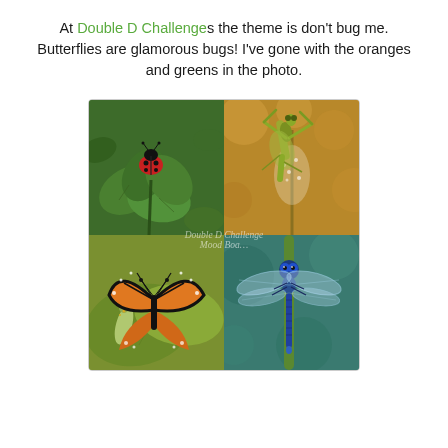At Double D Challenges the theme is don't bug me. Butterflies are glamorous bugs! I've gone with the oranges and greens in the photo.
[Figure (photo): A 2x2 grid collage of insect macro photographs: top-left shows a ladybug on a green clover leaf, top-right shows a praying mantis on a plant with golden bokeh background, bottom-left shows a monarch butterfly emerging from a chrysalis on a milkweed leaf, bottom-right shows a blue dragonfly on a green stem. A watermark reads 'Double D Challenge Mood Boa...' across the center.]